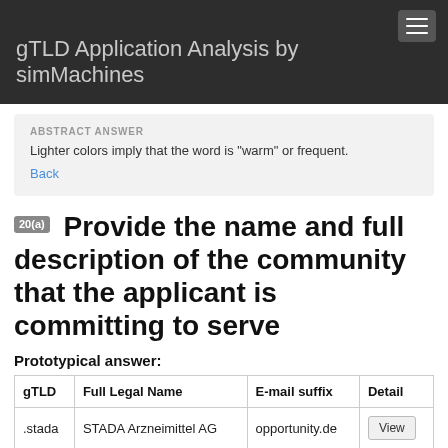gTLD Application Analysis by simMachines
ABSTRACT ANSWER
Lighter colors imply that the word is "warm" or frequent.
Back
20(a) Provide the name and full description of the community that the applicant is committing to serve
Prototypical answer:
| gTLD | Full Legal Name | E-mail suffix | Detail |
| --- | --- | --- | --- |
| .stada | STADA Arzneimittel AG | opportunity.de | View |